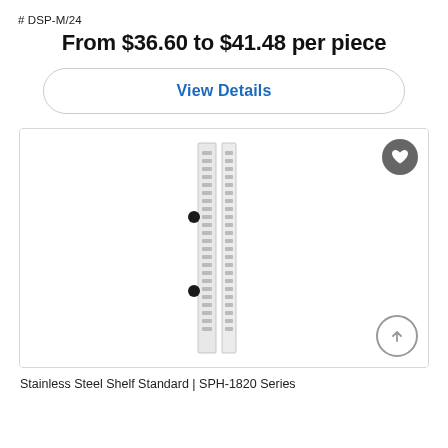# DSP-M/24
From $36.60 to $41.48 per piece
View Details
[Figure (photo): Two stainless steel shelf standards (SPH-1820 Series) shown side by side vertically, with slot holes along their length and two screw attachment points visible on the left standard.]
Stainless Steel Shelf Standard | SPH-1820 Series